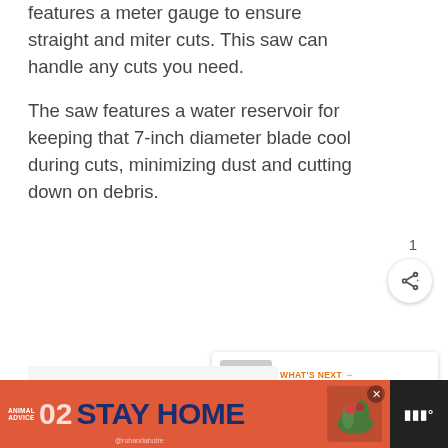features a meter gauge to ensure straight and miter cuts. This saw can handle any cuts you need.

The saw features a water reservoir for keeping that 7-inch diameter blade cool during cuts, minimizing dust and cutting down on debris.
[Figure (other): Like (heart) button in orange circle with count of 1, and share button below it]
[Figure (other): What's Next card showing thumbnail image and text: Repair Broken or Cracked...]
[Figure (other): Advertisement banner at bottom: Animal Advice 02 STAY HOME @rohandahotre with decorative illustration, close button, and logo on right]